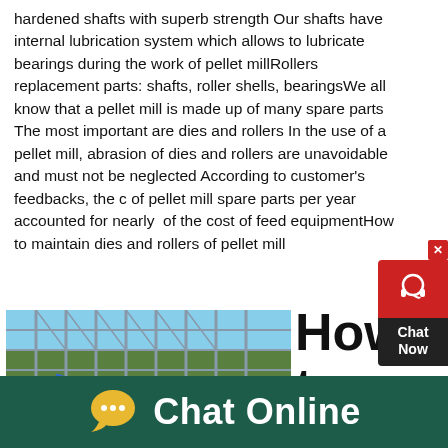hardened shafts with superb strength Our shafts have internal lubrication system which allows to lubricate bearings during the work of pellet millRollers replacement parts: shafts, roller shells, bearingsWe all know that a pellet mill is made up of many spare parts The most important are dies and rollers In the use of a pellet mill, abrasion of dies and rollers are unavoidable and must not be neglected According to customer's feedbacks, the cost of pellet mill spare parts per year accounted for nearly some of the cost of feed equipmentHow to maintain dies and rollers of pellet mill
[Figure (photo): Photo of industrial scaffolding or steel framework structure outdoors with trees and blue sky in background]
How to
[Figure (infographic): Chat Now widget overlay with red background, headset icon, close button, and dark Chat Now label]
Chat Online